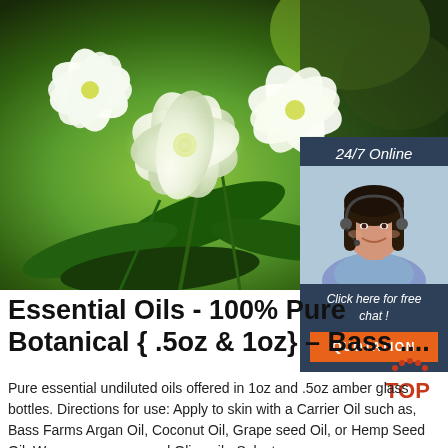[Figure (photo): Close-up photo of white flowers (gardenia/jasmine) with green leaves and stems on a blurred green background]
[Figure (infographic): 24/7 Online customer service sidebar with a smiling woman wearing a headset, 'Click here for free chat!' text, and an orange QUOTATION button]
Essential Oils - 100% Pure Botanical { .5oz & 1oz} – Bass ....
Pure essential undiluted oils offered in 1oz and .5oz amber glass bottles. Directions for use: Apply to skin with a Carrier Oil such as, Bass Farms Argan Oil, Coconut Oil, Grape seed Oil, or Hemp Seed Oil. We never recommend Olive oil - Select